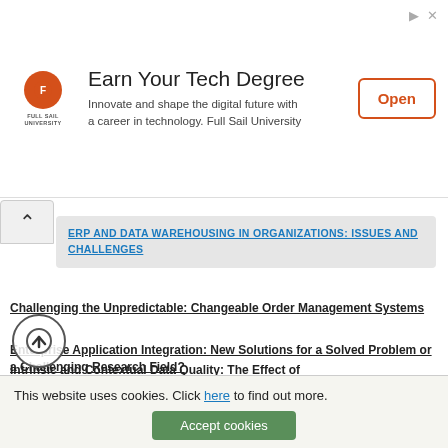[Figure (logo): Full Sail University advertisement banner with logo, headline 'Earn Your Tech Degree', subtext about technology career, and an Open button]
ERP AND DATA WAREHOUSING IN ORGANIZATIONS: ISSUES AND CHALLENGES
Challenging the Unpredictable: Changeable Order Management Systems
Enterprise Application Integration: New Solutions for a Solved Problem or a Challenging Research Field?
The Effects of an Enterprise Resource Planning System (ERP) Implementation on Job Characteristics – A Study using the Hackman and Oldham Job Characteristics Model
Data Mining for Business Process Reengineering
Intrinsic and Contextual Data Quality: The Effect of
Mi
(2ND EDITION)
This website uses cookies. Click here to find out more.
Accept cookies